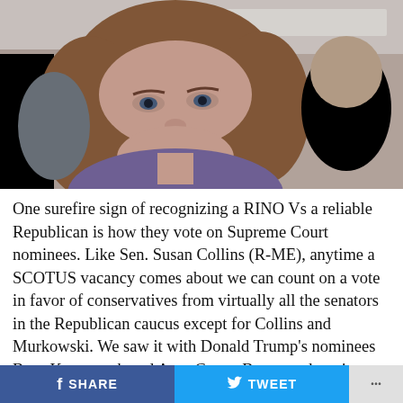[Figure (photo): Close-up photo of a woman with shoulder-length reddish-brown hair looking upward with a serious expression, with other people blurred in the background]
One surefire sign of recognizing a RINO Vs a reliable Republican is how they vote on Supreme Court nominees. Like Sen. Susan Collins (R-ME), anytime a SCOTUS vacancy comes about we can count on a vote in favor of conservatives from virtually all the senators in the Republican caucus except for Collins and Murkowski. We saw it with Donald Trump's nominees Brett Kavanaugh and Amy Coney Barrett, where it wasn't clear how they would vote until shortly before their ballots
f SHARE   🐦 TWEET   ...